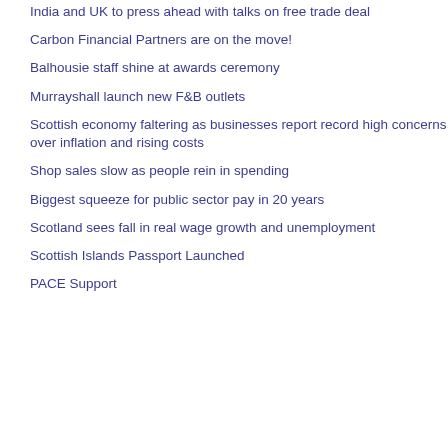India and UK to press ahead with talks on free trade deal
Carbon Financial Partners are on the move!
Balhousie staff shine at awards ceremony
Murrayshall launch new F&B outlets
Scottish economy faltering as businesses report record high concerns over inflation and rising costs
Shop sales slow as people rein in spending
Biggest squeeze for public sector pay in 20 years
Scotland sees fall in real wage growth and unemployment
Scottish Islands Passport Launched
PACE Support